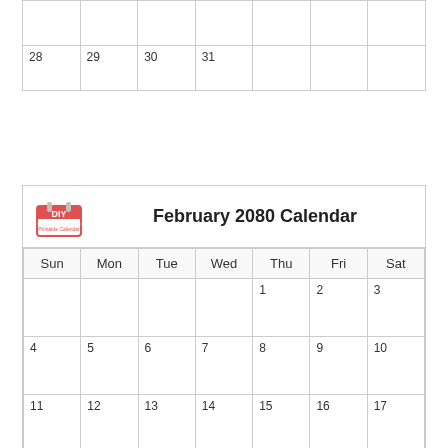| Sun | Mon | Tue | Wed | Thu | Fri | Sat |
| --- | --- | --- | --- | --- | --- | --- |
|  |  |  |  |  |  |  |
| 28 | 29 | 30 | 31 |  |  |  |
February 2080 Calendar
| Sun | Mon | Tue | Wed | Thu | Fri | Sat |
| --- | --- | --- | --- | --- | --- | --- |
|  |  |  |  | 1 | 2 | 3 |
| 4 | 5 | 6 | 7 | 8 | 9 | 10 |
| 11 | 12 | 13 | 14 | 15 | 16 | 17 |
| 18 | 19 | 20 | 21 | 22 | 23 | 24 |